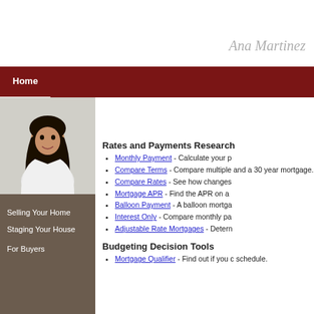Ana Martinez
Home
[Figure (photo): Professional photo of Ana Martinez, a woman with long dark hair wearing a white blazer, posed against a light gray background.]
Selling Your Home
Staging Your House
For Buyers
Rates and Payments Research
Monthly Payment - Calculate your p
Compare Terms - Compare multiple and a 30 year mortgage.
Compare Rates - See how changes
Mortgage APR - Find the APR on a
Balloon Payment - A balloon mortga
Interest Only - Compare monthly pa
Adjustable Rate Mortgages - Detern
Budgeting Decision Tools
Mortgage Qualifier - Find out if you c schedule.